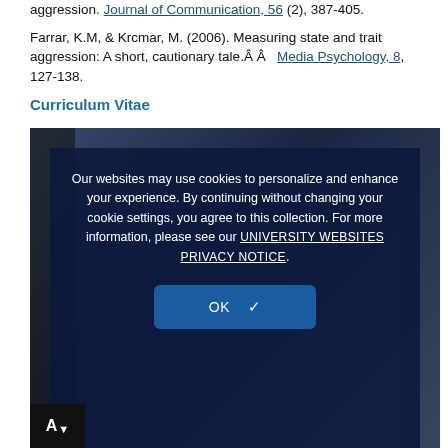aggression. Journal of Communication, 56 (2), 387-405.
Farrar, K.M, & Krcmar, M. (2006). Measuring state and trait aggression: A short, cautionary tale.Â Â  Media Psychology, 8, 127-138.
Curriculum Vitae
[Figure (screenshot): Cookie consent overlay on a dark blue background with text: 'Our websites may use cookies to personalize and enhance your experience. By continuing without changing your cookie settings, you agree to this collection. For more information, please see our UNIVERSITY WEBSITES PRIVACY NOTICE.' and an OK button with checkmark.]